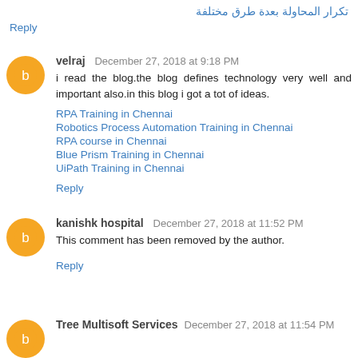تكرار المحاولة بعدة طرق مختلفة
Reply
velraj December 27, 2018 at 9:18 PM
i read the blog.the blog defines technology very well and important also.in this blog i got a tot of ideas.
RPA Training in Chennai
Robotics Process Automation Training in Chennai
RPA course in Chennai
Blue Prism Training in Chennai
UiPath Training in Chennai
Reply
kanishk hospital December 27, 2018 at 11:52 PM
This comment has been removed by the author.
Reply
Tree Multisoft Services December 27, 2018 at 11:54 PM